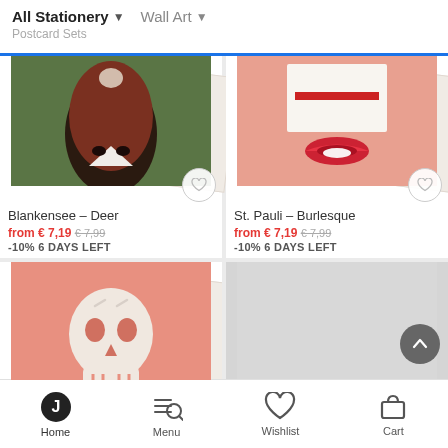All Stationery ▾   Wall Art ▾
Postcard Sets
[Figure (illustration): Product card image: Blankensee - Deer illustration on olive/green background with deer face motif, shown as postcard set]
Blankensee – Deer
from € 7,19  €7,99
-10% 6 DAYS LEFT
[Figure (illustration): Product card image: St. Pauli - Burlesque illustration on salmon/pink background with lips motif, shown as postcard set]
St. Pauli – Burlesque
from € 7,19  €7,99
-10% 6 DAYS LEFT
[Figure (illustration): Product card image: skull and crossbones illustration on salmon/pink background, shown as postcard set]
[Figure (illustration): Placeholder grey image area with scroll-to-top button]
Home   Menu   Wishlist   Cart